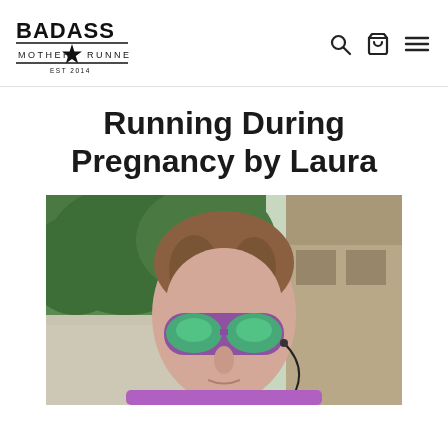BADASS MOTHER RUNNER EST 2014
Running During Pregnancy by Laura
[Figure (photo): Selfie of a woman wearing purple sunglasses with green mirrored lenses and a purple shirt, with earbuds/headphone wire visible, taken outdoors with trees and a building in the background.]